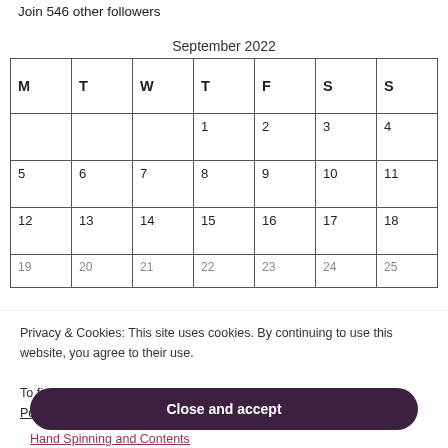Join 546 other followers
| M | T | W | T | F | S | S |
| --- | --- | --- | --- | --- | --- | --- |
|  |  |  | 1 | 2 | 3 | 4 |
| 5 | 6 | 7 | 8 | 9 | 10 | 11 |
| 12 | 13 | 14 | 15 | 16 | 17 | 18 |
| 19 | 20 | 21 | 22 | 23 | 24 | 25 |
Privacy & Cookies: This site uses cookies. By continuing to use this website, you agree to their use. To find out more, including how to control cookies, see here: Cookie Policy
Close and accept
Hand Spinning and Contents